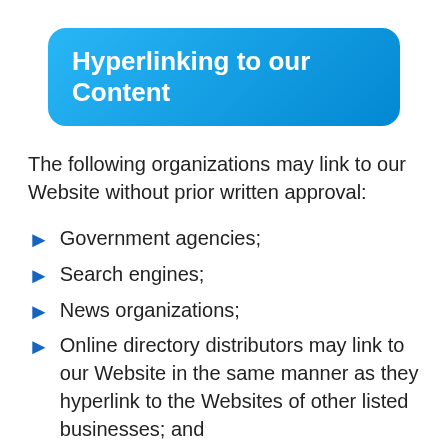Hyperlinking to our Content
The following organizations may link to our Website without prior written approval:
Government agencies;
Search engines;
News organizations;
Online directory distributors may link to our Website in the same manner as they hyperlink to the Websites of other listed businesses; and
System wide Accredited Businesses except soliciting non-profit organizations, charity shopping malls, and charity fundraising groups which may not hyperlink to our Web site.